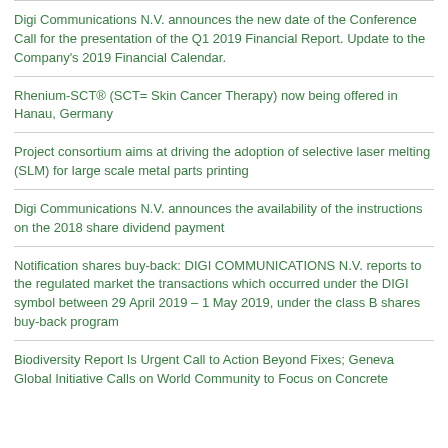Digi Communications N.V. announces the new date of the Conference Call for the presentation of the Q1 2019 Financial Report. Update to the Company's 2019 Financial Calendar.
Rhenium-SCT® (SCT= Skin Cancer Therapy) now being offered in Hanau, Germany
Project consortium aims at driving the adoption of selective laser melting (SLM) for large scale metal parts printing
Digi Communications N.V. announces the availability of the instructions on the 2018 share dividend payment
Notification shares buy-back: DIGI COMMUNICATIONS N.V. reports to the regulated market the transactions which occurred under the DIGI symbol between 29 April 2019 – 1 May 2019, under the class B shares buy-back program
Biodiversity Report Is Urgent Call to Action Beyond Fixes; Geneva Global Initiative Calls on World Community to Focus on Concrete